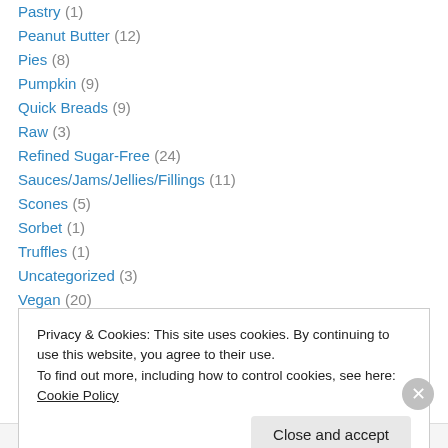Pastry (1)
Peanut Butter (12)
Pies (8)
Pumpkin (9)
Quick Breads (9)
Raw (3)
Refined Sugar-Free (24)
Sauces/Jams/Jellies/Fillings (11)
Scones (5)
Sorbet (1)
Truffles (1)
Uncategorized (3)
Vegan (20)
Privacy & Cookies: This site uses cookies. By continuing to use this website, you agree to their use. To find out more, including how to control cookies, see here: Cookie Policy
Advertisements